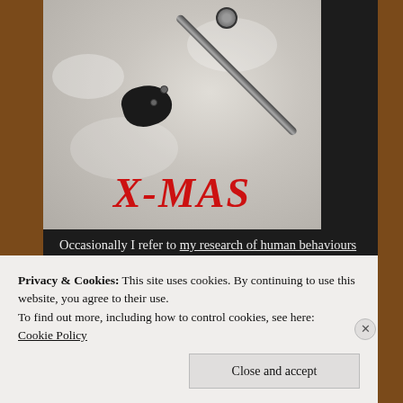[Figure (photo): A black and white photo of a flute or similar instrument lying in snow with a dark hole visible, with the text 'X-MAS' in large red italic letters overlaid at the bottom of the image.]
Occasionally I refer to my research of human behaviours at webcam sites. Worryingly, in certainly places, modern day renaissance of homosexuality (a Greco-Roman tradition) has
Privacy & Cookies: This site uses cookies. By continuing to use this website, you agree to their use.
To find out more, including how to control cookies, see here:
Cookie Policy
Close and accept